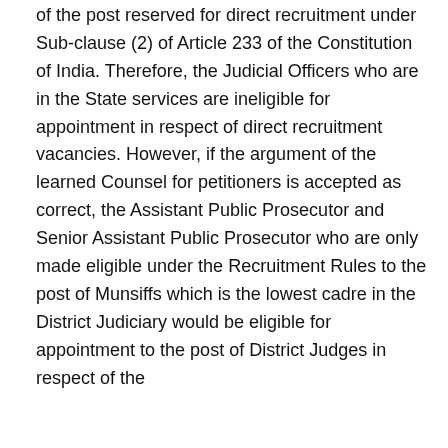of the post reserved for direct recruitment under Sub-clause (2) of Article 233 of the Constitution of India. Therefore, the Judicial Officers who are in the State services are ineligible for appointment in respect of direct recruitment vacancies. However, if the argument of the learned Counsel for petitioners is accepted as correct, the Assistant Public Prosecutor and Senior Assistant Public Prosecutor who are only made eligible under the Recruitment Rules to the post of Munsiffs which is the lowest cadre in the District Judiciary would be eligible for appointment to the post of District Judges in respect of the